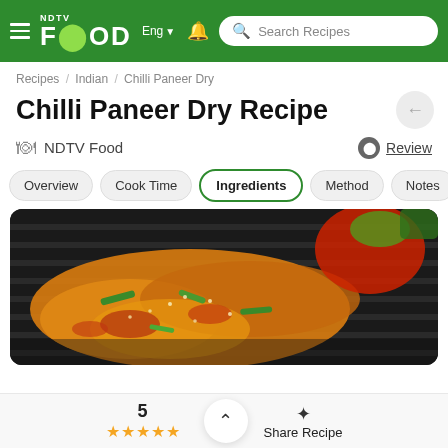NDTV Food — Eng — Search Recipes
Recipes / Indian / Chilli Paneer Dry
Chilli Paneer Dry Recipe
NDTV Food   Review
Overview   Cook Time   Ingredients   Method   Notes
[Figure (photo): Close-up photo of Chilli Paneer Dry dish on a dark grill pan with green chillies, sesame seeds, and orange-coloured paneer pieces]
5  ★★★★★  Share Recipe